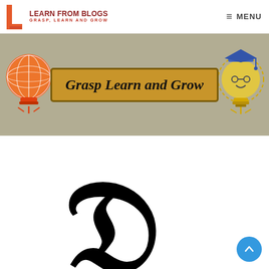LEARN FROM BLOGS — GRASP, LEARN AND GROW — MENU
[Figure (illustration): Website banner with two light bulb illustrations on left and right, and a golden-brown box in the center reading 'Grasp Learn and Grow' in bold italic text, on a khaki/tan background.]
[Figure (illustration): Large decorative blackletter/fraktur capital letter D in the center of the page on white background.]